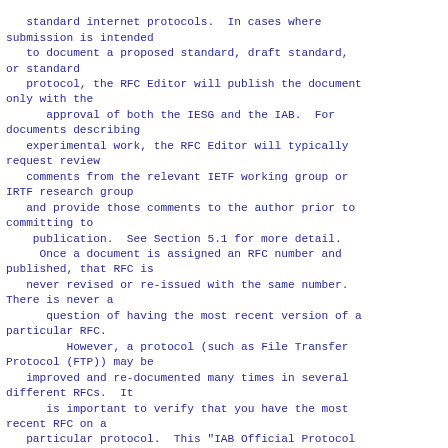standard internet protocols.  In cases where submission is intended
   to document a proposed standard, draft standard, or standard
   protocol, the RFC Editor will publish the document only with the
      approval of both the IESG and the IAB.  For documents describing
   experimental work, the RFC Editor will typically request review
   comments from the relevant IETF working group or IRTF research group
   and provide those comments to the author prior to committing to
    publication.  See Section 5.1 for more detail.
     Once a document is assigned an RFC number and published, that RFC is
   never revised or re-issued with the same number.  There is never a
      question of having the most recent version of a particular RFC.
         However, a protocol (such as File Transfer Protocol (FTP)) may be
   improved and re-documented many times in several different RFCs.  It
      is important to verify that you have the most recent RFC on a
   particular protocol.  This "IAB Official Protocol Standards" memo is
   the reference for determining the correct RFC to
   find for this...